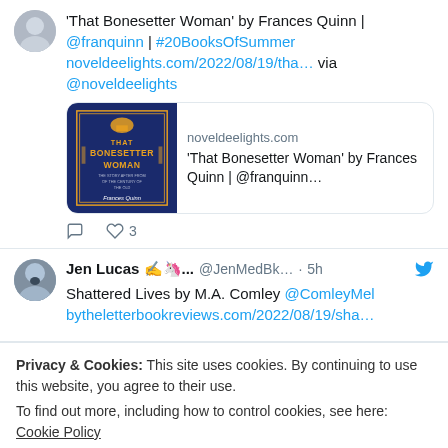'That Bonesetter Woman' by Frances Quinn | @franquinn | #20BooksOfSummer noveldeelights.com/2022/08/19/tha… via @noveldeelights
[Figure (screenshot): Link preview card showing book cover of 'That Bonesetter Woman' with domain noveldeelights.com and title text]
♡ 3
Jen Lucas ✍️🦄... @JenMedBk… · 5h
Shattered Lives by M.A. Comley @ComleyMel bytheletterbookreviews.com/2022/08/19/sha…
Privacy & Cookies: This site uses cookies. By continuing to use this website, you agree to their use.
To find out more, including how to control cookies, see here: Cookie Policy
Close and accept